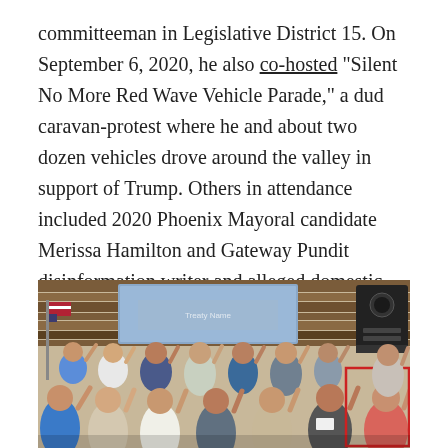committeeman in Legislative District 15. On September 6, 2020, he also co-hosted "Silent No More Red Wave Vehicle Parade," a dud caravan-protest where he and about two dozen vehicles drove around the valley in support of Trump. Others in attendance included 2020 Phoenix Mayoral candidate Merissa Hamilton and Gateway Pundit disinformation writer and alleged domestic abuser Jordan Conradson.
[Figure (photo): Indoor group photo of many people with their right hands raised as if taking an oath, in what appears to be a meeting room with wood-paneled walls and a projector screen in the background. A red rectangle highlights a person on the right side. A speaker/PA system is visible in the upper right.]